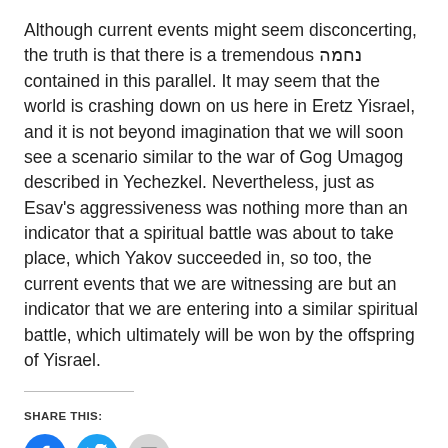Although current events might seem disconcerting, the truth is that there is a tremendous נחמה contained in this parallel. It may seem that the world is crashing down on us here in Eretz Yisrael, and it is not beyond imagination that we will soon see a scenario similar to the war of Gog Umagog described in Yechezkel. Nevertheless, just as Esav's aggressiveness was nothing more than an indicator that a spiritual battle was about to take place, which Yakov succeeded in, so too, the current events that we are witnessing are but an indicator that we are entering into a similar spiritual battle, which ultimately will be won by the offspring of Yisrael.
SHARE THIS: